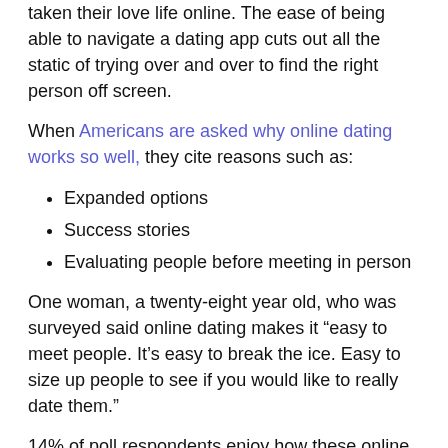taken their love life online. The ease of being able to navigate a dating app cuts out all the static of trying over and over to find the right person off screen.
When Americans are asked why online dating works so well, they cite reasons such as:
Expanded options
Success stories
Evaluating people before meeting in person
One woman, a twenty-eight year old, who was surveyed said online dating makes it “easy to meet people. It’s easy to break the ice. Easy to size up people to see if you would like to really date them.”
14% of poll respondents enjoy how these online dating platforms can connect people who are like minded and share the same interests so easily.
“It’s easier to find someone who shares your interest